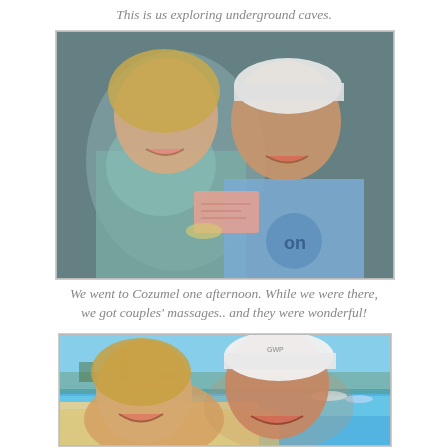This is us exploring underground caves.
[Figure (photo): A smiling couple indoors; the woman has blonde hair and is wearing a floral top, the man wears a light blue shirt and white cap; the woman holds what appears to be tickets.]
We went to Cozumel one afternoon. While we were there, we got couples' massages.. and they were wonderful!
[Figure (photo): A smiling couple on a beach with turquoise water in the background; the man wears a white cap; the woman is blonde.]